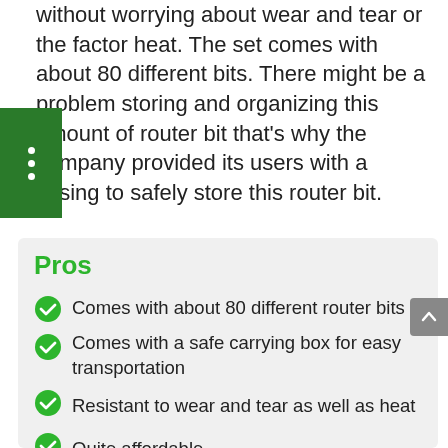without worrying about wear and tear or the factor heat. The set comes with about 80 different bits. There might be a problem storing and organizing this amount of router bit that's why the company provided its users with a casing to safely store this router bit.
Pros
Comes with about 80 different router bits
Comes with a safe carrying box for easy transportation
Resistant to wear and tear as well as heat
Quite affordable
Various sized bearings